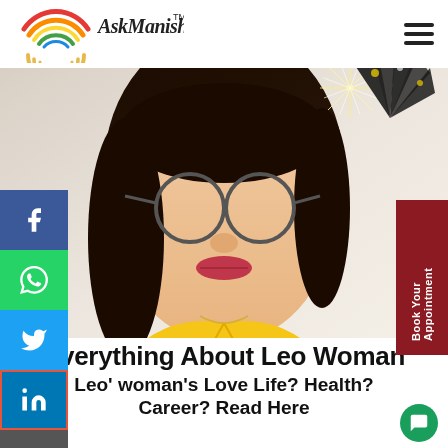AskManisha.com™
[Figure (photo): Portrait photo of a woman with glasses, dark hair, wearing a yellow top, close-up face shot]
[Figure (illustration): Social media share buttons sidebar: Facebook (blue), WhatsApp (green), Twitter (blue), LinkedIn (blue/orange border), Email (gray)]
[Figure (other): Dark red vertical button on right side reading 'Book Your Appointment']
Everything About Leo Woman
Leo' woman's Love Life? Health? Career? Read Here